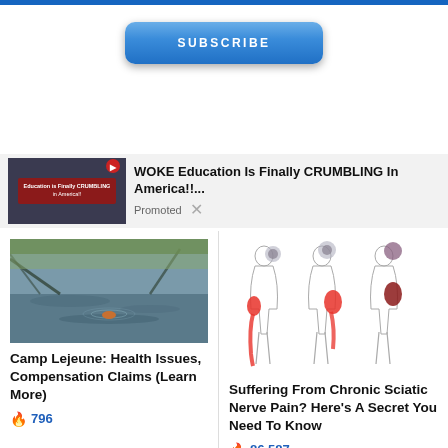[Figure (other): Blue SUBSCRIBE button]
[Figure (other): Promoted content banner: WOKE Education Is Finally CRUMBLING In America!!... with thumbnail and Promoted label]
[Figure (photo): Photo of water surface with swimming object, for Camp Lejeune article]
Camp Lejeune: Health Issues, Compensation Claims (Learn More)
🔥 796
[Figure (illustration): Medical illustration of human figures showing sciatic nerve pain areas in red]
Suffering From Chronic Sciatic Nerve Pain? Here's A Secret You Need To Know
🔥 86,587